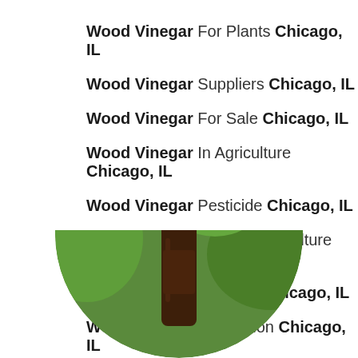Wood Vinegar For Plants Chicago, IL
Wood Vinegar Suppliers Chicago, IL
Wood Vinegar For Sale Chicago, IL
Wood Vinegar In Agriculture Chicago, IL
Wood Vinegar Pesticide Chicago, IL
Wood Vinegar Uses In Agriculture Chicago, IL
Wood Vinegar Fertilizer Chicago, IL
Wood Vinegar Production Chicago, IL
[Figure (photo): A dark bottle of wood vinegar set against a blurred green leafy background, shown in a circular crop at the bottom of the page.]